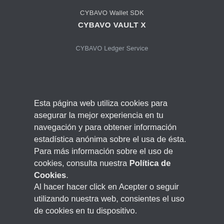CYBAVO Wallet SDK
CYBAVO VAULT X
CYBAVO Ledger Service
DEVELOPERS
API
Github
RECURSOS
Blog
Seguridad
Esta página web utiliza cookies para asegurar la mejor experiencia en tu navegación y para obtener información estadística anónima sobre el usa de ésta. Para más información sobre el uso de cookies, consulta nuestra Política de Cookies.
Al hacer hacer click en Acepter o seguir utilizando nuestra web, consientes el uso de cookies en tu dispositivo.
Acepto
EMPRESA